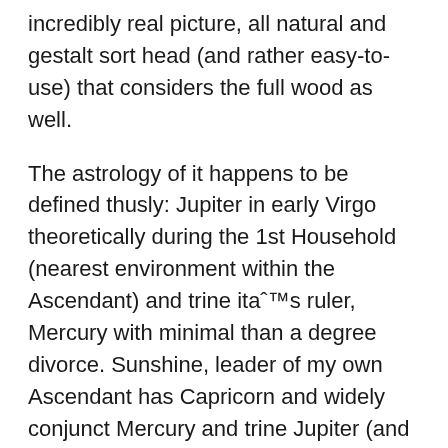incredibly real picture, all natural and gestalt sort head (and rather easy-to-use) that considers the full wood as well.
The astrology of it happens to be defined thusly: Jupiter in early Virgo theoretically during the 1st Household (nearest environment within the Ascendant) and trine itaˆ™s ruler, Mercury with minimal than a degree divorce. Sunshine, leader of my own Ascendant has Capricorn and widely conjunct Mercury and trine Jupiter (and Mars).
Mars, leader of your Nadir as well 9th residences was conjunct Jupiter (promoting it a little more).
I quickly have got angular Pisces Southern Node. Sag Neptune is definitely trine simple Ascendant diploma (we affect start to see the fifth premises because then many highlighting section of a chart, bash Angles). Neptune is almost just sextile angular Venus which guides my own MC